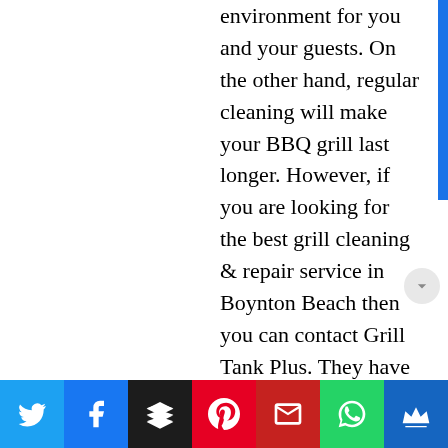environment for you and your guests. On the other hand, regular cleaning will make your BBQ grill last longer. However, if you are looking for the best grill cleaning & repair service in Boynton Beach then you can contact Grill Tank Plus. They have certified professionals who can clean or repair your grill tank
[Figure (other): Social sharing bar with buttons for Twitter, Facebook, Buffer, Pinterest, Gmail, WhatsApp, and a crown/king icon]